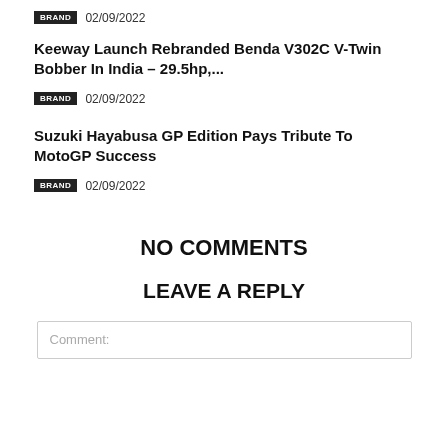BRAND  02/09/2022
Keeway Launch Rebranded Benda V302C V-Twin Bobber In India – 29.5hp,...
BRAND  02/09/2022
Suzuki Hayabusa GP Edition Pays Tribute To MotoGP Success
BRAND  02/09/2022
NO COMMENTS
LEAVE A REPLY
Comment: